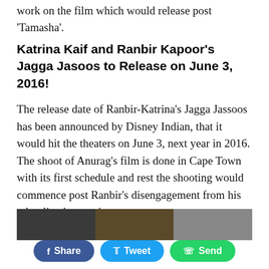work on the film which would release post 'Tamasha'.
Katrina Kaif and Ranbir Kapoor's Jagga Jasoos to Release on June 3, 2016!
The release date of Ranbir-Katrina's Jagga Jassoos has been announced by Disney Indian, that it would hit the theaters on June 3, next year in 2016. The shoot of Anurag's film is done in Cape Town with its first schedule and rest the shooting would commence post Ranbir's disengagement from his other lined up projects.
[Figure (photo): Three celebrity photos side by side: a woman on the left, a man in the center, and a woman on the right]
Share  Tweet  Send